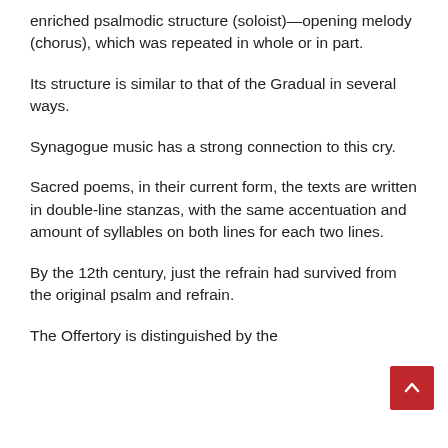enriched psalmodic structure (soloist)—opening melody (chorus), which was repeated in whole or in part.
Its structure is similar to that of the Gradual in several ways.
Synagogue music has a strong connection to this cry.
Sacred poems, in their current form, the texts are written in double-line stanzas, with the same accentuation and amount of syllables on both lines for each two lines.
By the 12th century, just the refrain had survived from the original psalm and refrain.
The Offertory is distinguished by the